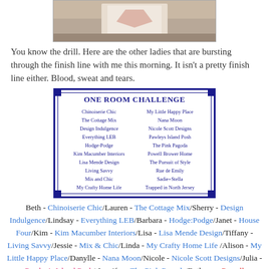[Figure (photo): Partial photo of a crafting/sewing project, cropped at top]
You know the drill. Here are the other ladies that are bursting through the finish line with me this morning. It isn't a pretty finish line either. Blood, sweat and tears.
[Figure (infographic): One Room Challenge box listing participant blog names in two columns: Chinoiserie Chic, The Cottage Mix, Design Indulgence, Everything LEB, Hodge-Podge, Kim Macumber Interiors, Lisa Mende Design, Living Savvy, Mix and Chic, My Crafty Home Life, My Little Happy Place, Nana Moon, Nicole Scott Designs, Pawleys Island Posh, The Pink Pagoda, Powell Brower Home, The Pursuit of Style, Rue de Emily, Sadie+Stella, Trapped in North Jersey]
Beth - Chinoiserie Chic/Lauren - The Cottage Mix/Sherry - Design Indulgence/Lindsay - Everything LEB/Barbara - Hodge:Podge/Janet - House Four/Kim - Kim Macumber Interiors/Lisa - Lisa Mende Design/Tiffany - Living Savvy/Jessie - Mix & Chic/Linda - My Crafty Home Life /Alison - My Little Happy Place/Danylle - Nana Moon/Nicole - Nicole Scott Designs/Julia - Pawley's Island Posh/ Jennifer - The Pink Pagoda/Bethany - Powell...